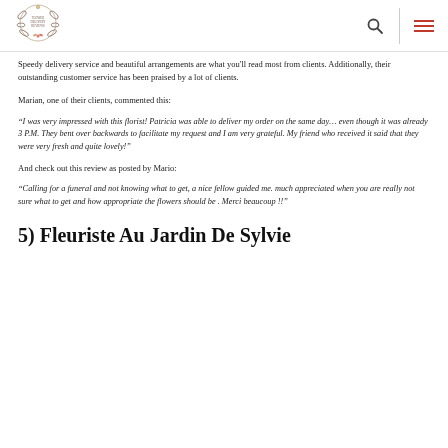Flower Delivery Reviews [logo] [search icon] [menu icon]
Speedy delivery service and beautiful arrangements are what you'll read most from clients. Additionally, their outstanding customer service has been praised by a lot of clients.
Marian, one of their clients, commented this:
“I was very impressed with this florist! Patricia was able to deliver my order on the same day… even though it was already 3 P.M. They bent over backwards to facilitate my request and I am very grateful. My friend who received it said that they were very fresh and quite lovely!”
And check out this review as posted by Mario:
“Calling for a funeral and not knowing what to get, a nice fellow guided me. much appreciated when you are really not sure what to get and how appropriate the flowers should be . Merci beaucoup !!”
5) Fleuriste Au Jardin De Sylvie